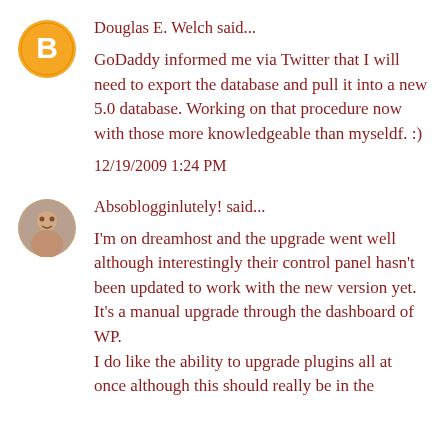[Figure (illustration): Blogger orange circle avatar icon with white 'B' letter]
Douglas E. Welch said...
GoDaddy informed me via Twitter that I will need to export the database and pull it into a new 5.0 database. Working on that procedure now with those more knowledgeable than myseldf. :)
12/19/2009 1:24 PM
[Figure (photo): Round avatar photo of a person]
Absoblogginlutely! said...
I'm on dreamhost and the upgrade went well although interestingly their control panel hasn't been updated to work with the new version yet. It's a manual upgrade through the dashboard of WP.
I do like the ability to upgrade plugins all at once although this should really be in the